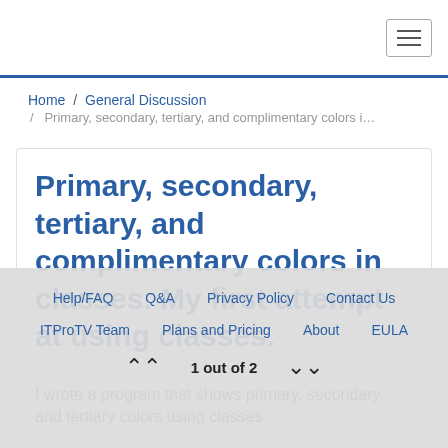Home / General Discussion / Primary, secondary, tertiary, and complimentary colors i…
Primary, secondary, tertiary, and complimentary colors in classes. My first attempt at using classes.
I wrote a program that shows primary, secondary, and tertiary colors using classes.
Help/FAQ   Q&A   Privacy Policy   Contact Us   ITProTV Team   Plans and Pricing   About   EULA   1 out of 2